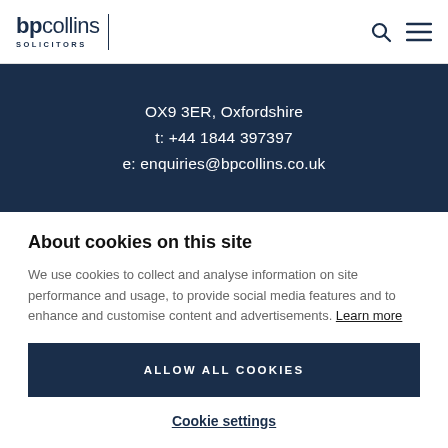[Figure (logo): bp collins Solicitors logo with divider line]
OX9 3ER, Oxfordshire
t: +44 1844 397397
e: enquiries@bpcollins.co.uk
About cookies on this site
We use cookies to collect and analyse information on site performance and usage, to provide social media features and to enhance and customise content and advertisements. Learn more
ALLOW ALL COOKIES
Cookie settings